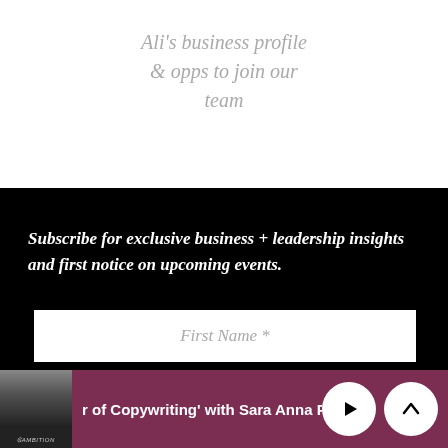Ali's business profile & opps to join our team
Subscribe for exclusive business + leadership insights and first notice on upcoming events.
First Name *
Last Name *
r of Copywriting' with Sara Anna Pow